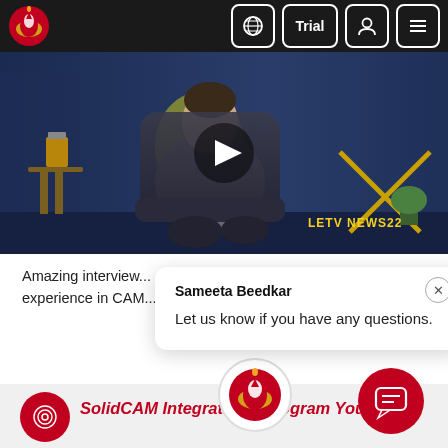[Figure (screenshot): SolidCAM website navigation bar with logo on left and Trial, globe, user, and menu icons on the right, dark background]
[Figure (photo): Video thumbnail showing a person sitting in a chair in a TV studio with blue background and yellow-green pillow, LETV NEWS22 watermark, play button overlay]
Amazing interview... experience in CA...
[Figure (screenshot): Chat popup from Sameeta Beedkar saying 'Let us know if you have any questions.' with a close (X) button, and SolidCAM logo avatar]
SolidCAM Integration - Program Your CNCs